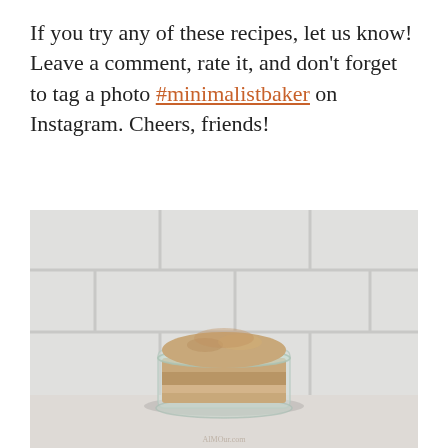If you try any of these recipes, let us know! Leave a comment, rate it, and don't forget to tag a photo #minimalistbaker on Instagram. Cheers, friends!
[Figure (photo): A glass jar filled with ground almond flour or similar fine powder, photographed against a light grey subway tile background. The jar is centered and shows the contents mounded above the rim.]